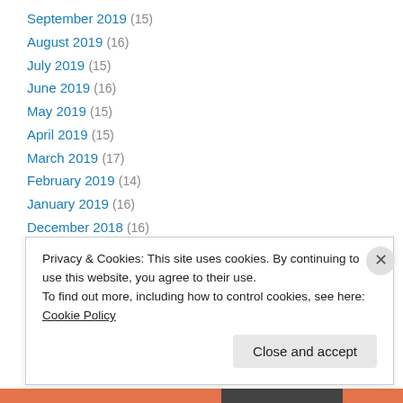September 2019 (15)
August 2019 (16)
July 2019 (15)
June 2019 (16)
May 2019 (15)
April 2019 (15)
March 2019 (17)
February 2019 (14)
January 2019 (16)
December 2018 (16)
November 2018 (17)
October 2018 (17)
September 2018 (16)
Privacy & Cookies: This site uses cookies. By continuing to use this website, you agree to their use. To find out more, including how to control cookies, see here: Cookie Policy